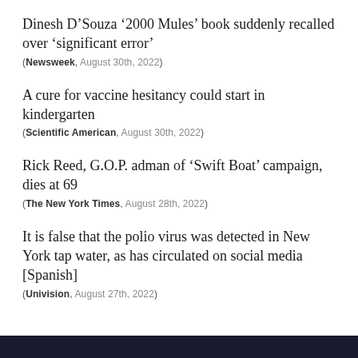Dinesh D’Souza ‘2000 Mules’ book suddenly recalled over ‘significant error’
(Newsweek, August 30th, 2022)
A cure for vaccine hesitancy could start in kindergarten
(Scientific American, August 30th, 2022)
Rick Reed, G.O.P. adman of ‘Swift Boat’ campaign, dies at 69
(The New York Times, August 28th, 2022)
It is false that the polio virus was detected in New York tap water, as has circulated on social media [Spanish]
(Univision, August 27th, 2022)